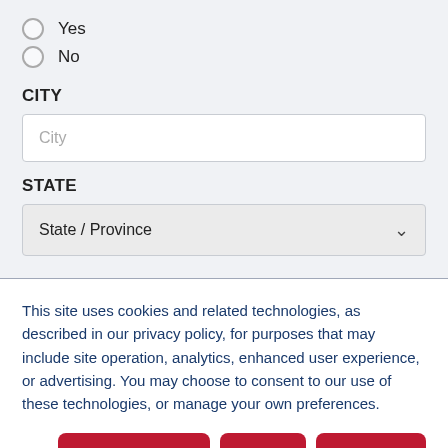Yes
No
CITY
City
STATE
State / Province
This site uses cookies and related technologies, as described in our privacy policy, for purposes that may include site operation, analytics, enhanced user experience, or advertising. You may choose to consent to our use of these technologies, or manage your own preferences.
Manage Settings
Accept
Decline All